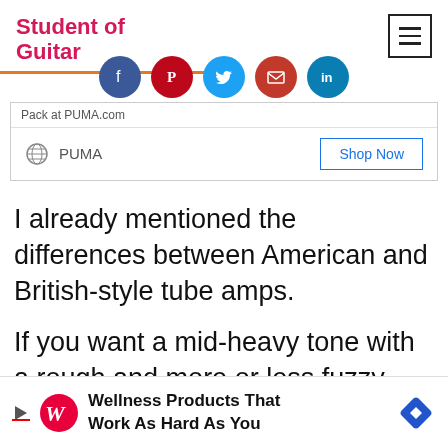Student of Guitar
[Figure (infographic): Social sharing icons row: Facebook, Pinterest, Twitter, Email, LinkedIn]
| Pack at PUMA.com |
| PUMA | Shop Now |
I already mentioned the differences between American and British-style tube amps.
If you want a mid-heavy tone with a rough and more or less fuzzy kind of tone, go with
[Figure (infographic): Walgreens advertisement banner: Wellness Products That Work As Hard As You]
Wellness Products That Work As Hard As You